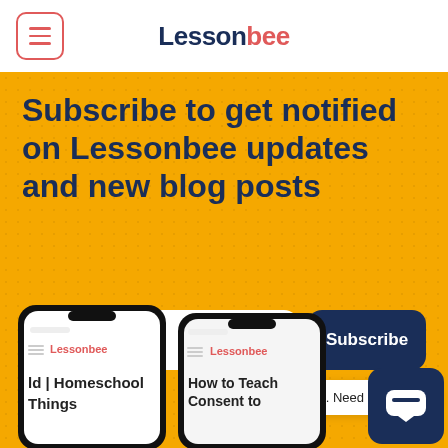[Figure (screenshot): Lessonbee website header with hamburger menu button on left and Lessonbee logo in center]
Subscribe to get notified on Lessonbee updates and new blog posts
[Figure (screenshot): Email subscription form with Enter Email text field and Subscribe button on yellow dotted background with two mobile phones showing Lessonbee app and a chat widget saying Hi. Need any help?]